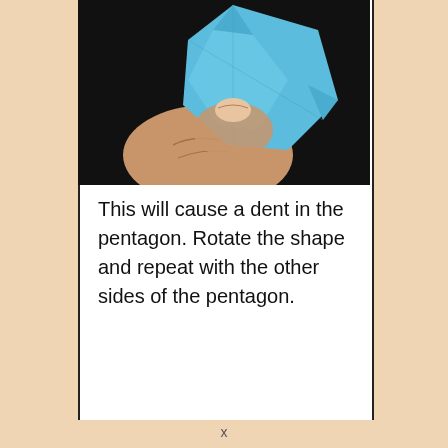[Figure (photo): A hand pressing on a blue paper star shape against a dark background, demonstrating how to create a dent in the pentagon shape.]
This will cause a dent in the pentagon. Rotate the shape and repeat with the other sides of the pentagon.
x